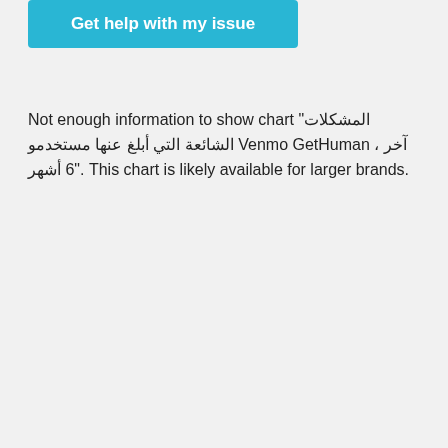[Figure (other): Blue button labeled 'Get help with my issue']
Not enough information to show chart "المشكلات الشائعة التي أبلغ عنها مستخدمو Venmo GetHuman ، آخر 6 أشهر". This chart is likely available for larger brands.